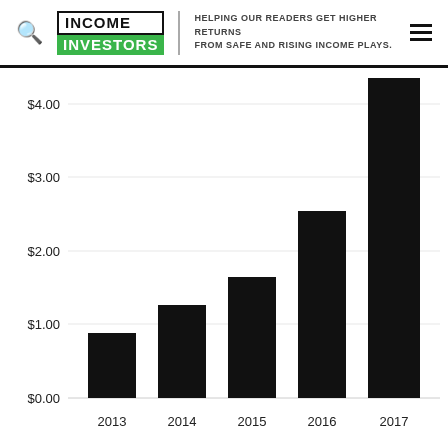INCOME INVESTORS — HELPING OUR READERS GET HIGHER RETURNS FROM SAFE AND RISING INCOME PLAYS.
[Figure (bar-chart): ]